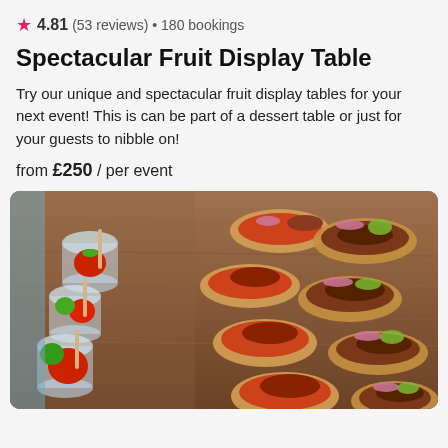4.81 (53 reviews) • 180 bookings
Spectacular Fruit Display Table
Try our unique and spectacular fruit display tables for your next event! This is can be part of a dessert table or just for your guests to nibble on!
from £250 / per event
[Figure (photo): A long wooden table display showing rows of bruschetta topped with chopped tomatoes and pulled meat with pickled onions and avocado, alongside small clear cups filled with caprese-style bites with green pesto and tomatoes, skewered with wooden sticks.]